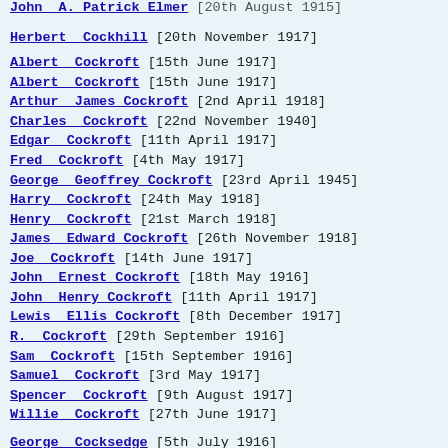John A. Patrick Elmer [20th August 1915]
Herbert Cockhill [20th November 1917]
Albert Cockroft [15th June 1917]
Albert Cockroft [15th June 1917]
Arthur James Cockroft [2nd April 1918]
Charles Cockroft [22nd November 1940]
Edgar Cockroft [11th April 1917]
Fred Cockroft [4th May 1917]
George Geoffrey Cockroft [23rd April 1945]
Harry Cockroft [24th May 1918]
Henry Cockroft [21st March 1918]
James Edward Cockroft [26th November 1918]
Joe Cockroft [14th June 1917]
John Ernest Cockroft [18th May 1916]
John Henry Cockroft [11th April 1917]
Lewis Ellis Cockroft [8th December 1917]
R. Cockroft [29th September 1916]
Sam Cockroft [15th September 1916]
Samuel Cockroft [3rd May 1917]
Spencer Cockroft [9th August 1917]
Willie Cockroft [27th June 1917]
George Cocksedge [5th July 1916]
John Cogan [2nd March 1916]
Thomas William Coghlin [18th July 1943]
Cecil Cole [11th March 1945]